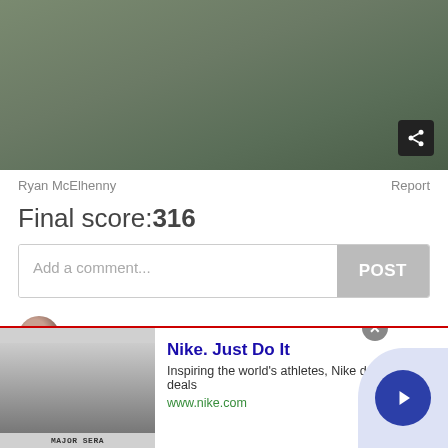[Figure (screenshot): Greenish-gray blurred background image with a share button in the bottom-right corner]
Ryan McElhenny
Report
Final score:316
Add a comment...
POST
YvonneBernal  6 years ago
EXCELLENT - Now this truly gives us West Coasters an idea as to the conditions and how fast things are changing!
21  Reply
View More Replies...
[Figure (screenshot): Nike advertisement banner with thumbnail image, title 'Nike. Just Do It', description text, URL www.nike.com, and a next arrow button]